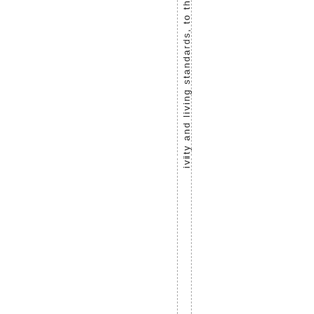ivity and living standards, to the